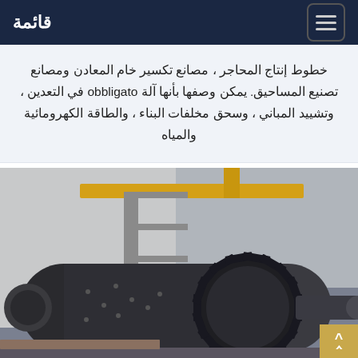قائمة
خطوط إنتاج المحاجر ، مصانع تكسير خام المعادن ومصانع تصنيع المساحيق. يمكن وصفها بأنها آلة obbligato في التعدين ، وتشييد المباني ، وسحق مخلفات البناء ، والطاقة الكهرومائية والمياه
[Figure (photo): Industrial ball mill machine with large gear ring in a factory setting, showing a cylindrical grinding mill with a prominent toothed gear, in a warehouse with yellow overhead crane visible in background]